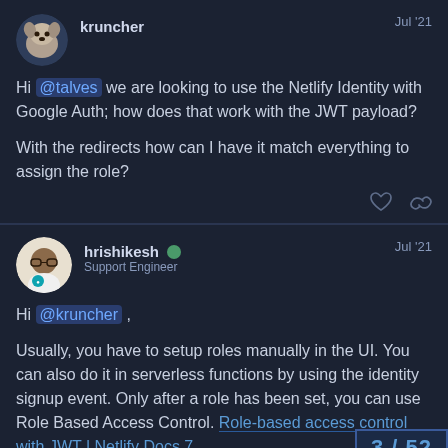kruncher | Jul '21
Hi @talves we are looking to use the Netlify Identity with Google Auth; how does that work with the JWT payload?

With the redirects how can I have it match everything to assign the role?
hrishikesh ✓ Support Engineer | Jul '21
Hi @kruncher ,

Usually, you have to setup roles manually in the UI. You can also do it in serverless functions by using the identity signup event. Only after a role has been set, you can use Role Based Access Control. Role-based access control with JWT | Netlify Docs 7
3 / 52